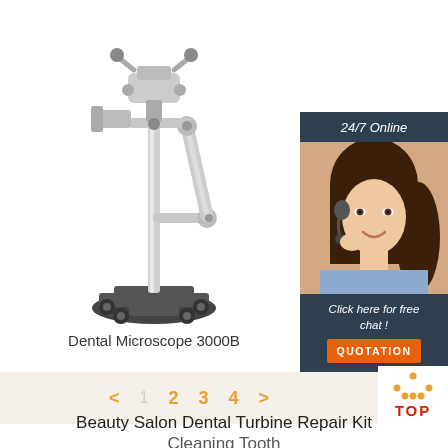[Figure (photo): Dental Microscope 3000B on a wheeled stand with articulated arm and binocular head]
Dental Microscope 3000B
[Figure (infographic): 24/7 Online chat widget with a customer service agent wearing a headset. Includes text 'Click here for free chat!' and an orange QUOTATION button.]
< 1 2 3 4 > (pagination navigation)
[Figure (logo): TOP button with orange dot triangle icon and red TOP text]
Beauty Salon Dental Turbine Repair Kit Cleaning Tooth